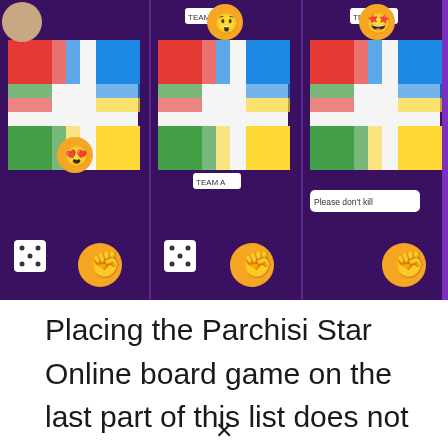[Figure (screenshot): Three side-by-side screenshots of the Parchisi Star Online board game app, showing players with emoji reactions, a Ludo-style board, and a chat bubble saying 'Please don't kill']
Placing the Parchisi Star Online board game on the last part of this list does not mean it is the worst of Ludo games. Parchisi Star Online is rated one of the best and has equally received hundreds of downloads from Ludo lovers around the world as proof.